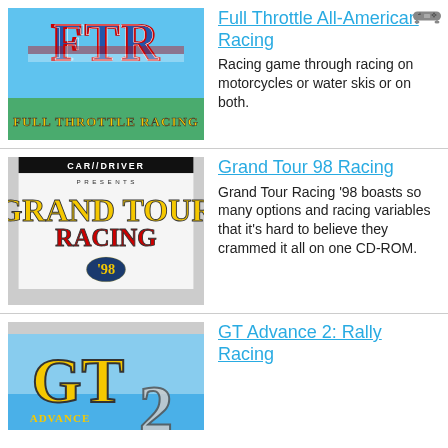[Figure (screenshot): Full Throttle Racing game logo on blue background with FTR letters and American flag motif]
Full Throttle All-American Racing
Racing game through racing on motorcycles or water skis or on both.
[Figure (screenshot): Car and Driver Presents Grand Tour Racing 98 game logo]
Grand Tour 98 Racing
Grand Tour Racing '98 boasts so many options and racing variables that it's hard to believe they crammed it all on one CD-ROM.
[Figure (screenshot): GT Advance 2 Rally Racing game logo on blue background]
GT Advance 2: Rally Racing